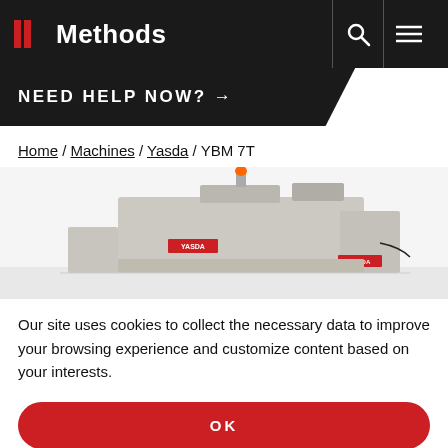Methods — NEED HELP NOW? →
Home / Machines / Yasda / YBM 7T
[Figure (photo): Yasda YBM 7T CNC machine tool, beige/grey cabinet with red Yasda branding, light tower on top, on white background]
Our site uses cookies to collect the necessary data to improve your browsing experience and customize content based on your interests.
OK